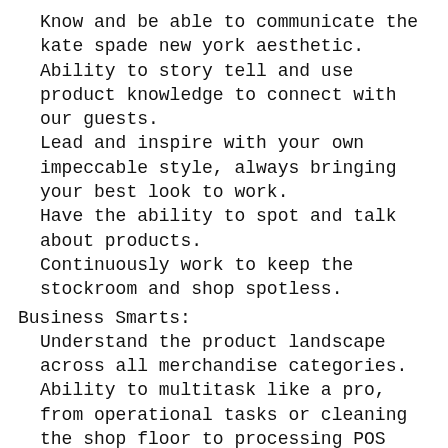Know and be able to communicate the kate spade new york aesthetic.
Ability to story tell and use product knowledge to connect with our guests.
Lead and inspire with your own impeccable style, always bringing your best look to work.
Have the ability to spot and talk about products.
Continuously work to keep the stockroom and shop spotless.
Business Smarts:
Understand the product landscape across all merchandise categories.
Ability to multitask like a pro, from operational tasks or cleaning the shop floor to processing POS transactions (a dull moment is hard to come by).
Share ideas and feedback with the team.
The accomplished individual will possess.